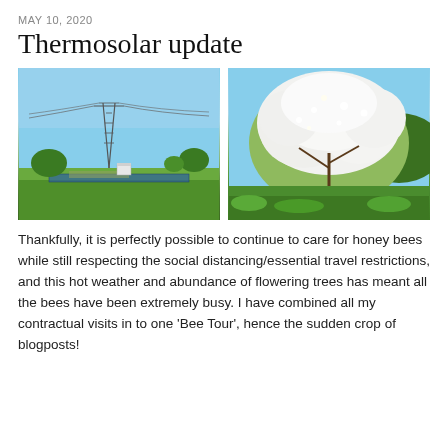MAY 10, 2020
Thermosolar update
[Figure (photo): Electricity pylon standing in a solar farm field with green grass, trees in background, blue sky. A white cabinet or substation visible at the base.]
[Figure (photo): A large flowering tree or bush covered in white blossoms, set against a blue sky with green grass in the foreground.]
Thankfully, it is perfectly possible to continue to care for honey bees while still respecting the social distancing/essential travel restrictions, and this hot weather and abundance of flowering trees has meant all the bees have been extremely busy. I have combined all my contractual visits in to one 'Bee Tour', hence the sudden crop of blogposts!